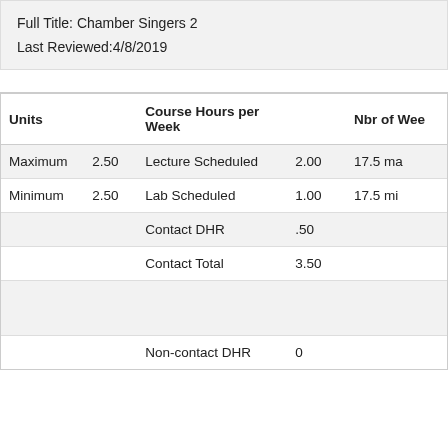Full Title:  Chamber Singers 2
Last Reviewed:4/8/2019
| Units |  | Course Hours per Week |  | Nbr of Wee |
| --- | --- | --- | --- | --- |
| Maximum | 2.50 | Lecture Scheduled | 2.00 | 17.5 ma |
| Minimum | 2.50 | Lab Scheduled | 1.00 | 17.5 mi |
|  |  | Contact DHR | .50 |  |
|  |  | Contact Total | 3.50 |  |
|  |  |  |  |  |
|  |  | Non-contact DHR | 0 |  |